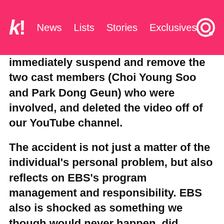k! News Lists Stories Exclusives
immediately suspend and remove the two cast members (Choi Young Soo and Park Dong Geun) who were involved, and deleted the video off of our YouTube channel.
The accident is not just a matter of the individual's personal problem, but also reflects on EBS's program management and responsibility. EBS also is shocked as something we though would never happen, did happen, and we take responsibility for that. With this event, EBS will review the selection process for all of the people appearing on EBS programs in